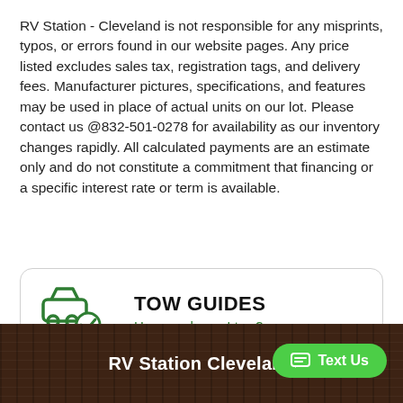RV Station - Cleveland is not responsible for any misprints, typos, or errors found in our website pages. Any price listed excludes sales tax, registration tags, and delivery fees. Manufacturer pictures, specifications, and features may be used in place of actual units on our lot. Please contact us @832-501-0278 for availability as our inventory changes rapidly. All calculated payments are an estimate only and do not constitute a commitment that financing or a specific interest rate or term is available.
[Figure (infographic): Tow Guides promotional box with car+checkmark icon, bold heading 'TOW GUIDES', and green subtitle 'How much can I tow?']
RV Station Cleveland